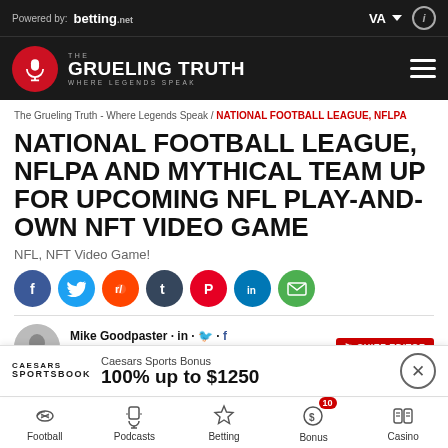Powered by: betting.net | VA | i
THE GRUELING TRUTH - WHERE LEGENDS SPEAK
The Grueling Truth - Where Legends Speak / NATIONAL FOOTBALL LEAGUE, NFLPA
NATIONAL FOOTBALL LEAGUE, NFLPA AND MYTHICAL TEAM UP FOR UPCOMING NFL PLAY-AND-OWN NFT VIDEO GAME
NFL, NFT Video Game!
[Figure (infographic): Social sharing icons: Facebook, Twitter, Reddit, Tumblr, Pinterest, LinkedIn, Email]
Mike Goodpaster · in · CHIEF EDITOR
Publish Date · Fact checked by: Kyle Lewis
Caesars Sports Bonus
100% up to $1250